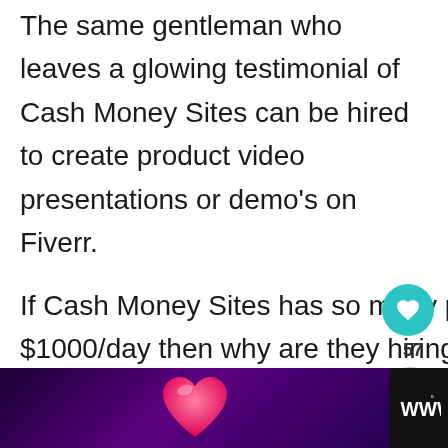The same gentleman who leaves a glowing testimonial of Cash Money Sites can be hired to create product video presentations or demo’s on Fiverr.
If Cash Money Sites has so many partners making $1000/day then why are they hiring actors to make fake testimonials?
[Figure (screenshot): UI overlay: heart/like button (teal circle), share count 57, share icon circle, and a 'WHAT'S NEXT' panel showing 'Is MONAT Shampoo a...' with a thumbnail]
[Figure (screenshot): Bottom bar showing a dark purple gradient panel with a pink heart icon, and a black section with white 'W' degree logo]